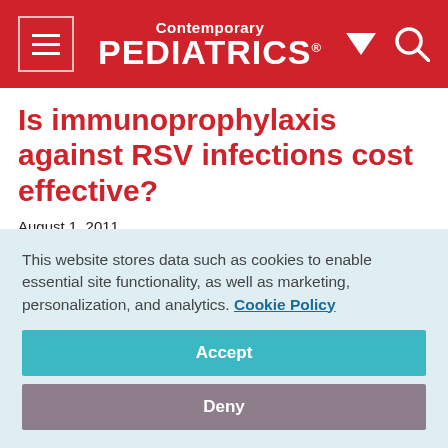Contemporary PEDIATRICS
Is immunoprophylaxis against RSV infections cost effective?
August 1, 2011
[Figure (other): Social sharing icons: Facebook, Twitter, LinkedIn, Pinterest, Email]
According to an evaluation of the cost effectiveness of
This website stores data such as cookies to enable essential site functionality, as well as marketing, personalization, and analytics. Cookie Policy
Accept
Deny